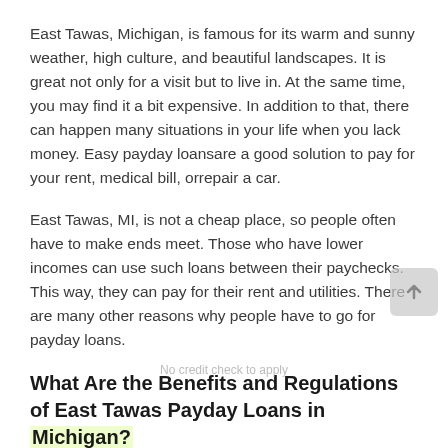East Tawas, Michigan, is famous for its warm and sunny weather, high culture, and beautiful landscapes. It is great not only for a visit but to live in. At the same time, you may find it a bit expensive. In addition to that, there can happen many situations in your life when you lack money. Easy payday loansare a good solution to pay for your rent, medical bill, orrepair a car.
East Tawas, MI, is not a cheap place, so people often have to make ends meet. Those who have lower incomes can use such loans between their paychecks. This way, they can pay for their rent and utilities. There are many other reasons why people have to go for payday loans.
What Are the Benefits and Regulations of East Tawas Payday Loans in Michigan?
Fast payday loans happen to be better than many other lenders because of the following benefits of this service: